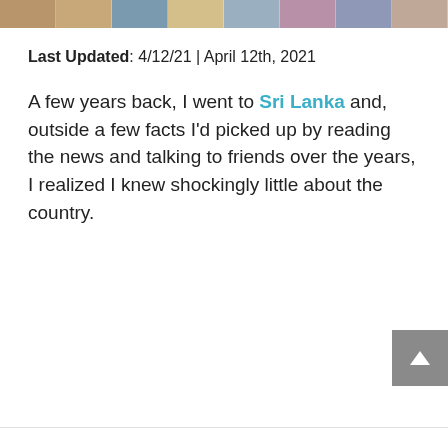[Figure (photo): Horizontal photo strip collage at top of page showing multiple travel/lifestyle images]
Last Updated: 4/12/21 | April 12th, 2021
A few years back, I went to Sri Lanka and, outside a few facts I'd picked up by reading the news and talking to friends over the years, I realized I knew shockingly little about the country.